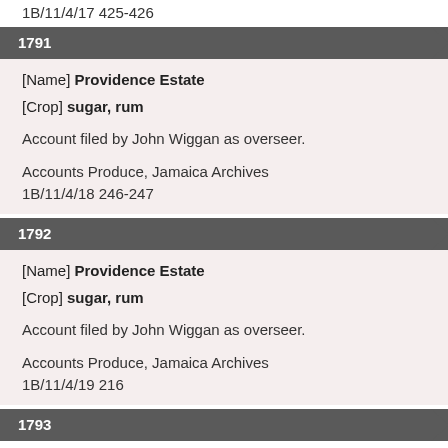1B/11/4/17 425-426
1791
[Name] Providence Estate
[Crop] sugar, rum
Account filed by John Wiggan as overseer.
Accounts Produce, Jamaica Archives
1B/11/4/18 246-247
1792
[Name] Providence Estate
[Crop] sugar, rum
Account filed by John Wiggan as overseer.
Accounts Produce, Jamaica Archives
1B/11/4/19 216
1793